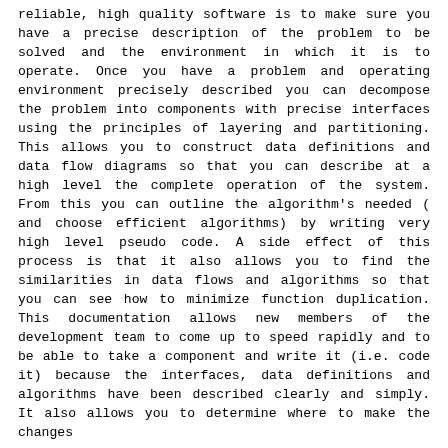reliable, high quality software is to make sure you have a precise description of the problem to be solved and the environment in which it is to operate. Once you have a problem and operating environment precisely described you can decompose the problem into components with precise interfaces using the principles of layering and partitioning. This allows you to construct data definitions and data flow diagrams so that you can describe at a high level the complete operation of the system. From this you can outline the algorithm's needed ( and choose efficient algorithms) by writing very high level pseudo code. A side effect of this process is that it also allows you to find the similarities in data flows and algorithms so that you can see how to minimize function duplication. This documentation allows new members of the development team to come up to speed rapidly and to be able to take a component and write it (i.e. code it) because the interfaces, data definitions and algorithms have been described clearly and simply. It also allows you to determine where to make the changes